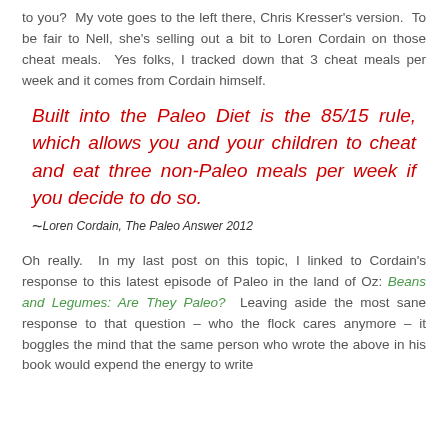to you?  My vote goes to the left there, Chris Kresser's version.  To be fair to Nell, she's selling out a bit to Loren Cordain on those cheat meals.  Yes folks, I tracked down that 3 cheat meals per week and it comes from Cordain himself.
Built into the Paleo Diet is the 85/15 rule, which allows you and your children to cheat and eat three non-Paleo meals per week if you decide to do so.
~ Loren Cordain, The Paleo Answer 2012
Oh really.  In my last post on this topic, I linked to Cordain's response to this latest episode of Paleo in the land of Oz: Beans and Legumes: Are They Paleo?  Leaving aside the most sane response to that question – who the flock cares anymore – it boggles the mind that the same person who wrote the above in his book would expend the energy to write